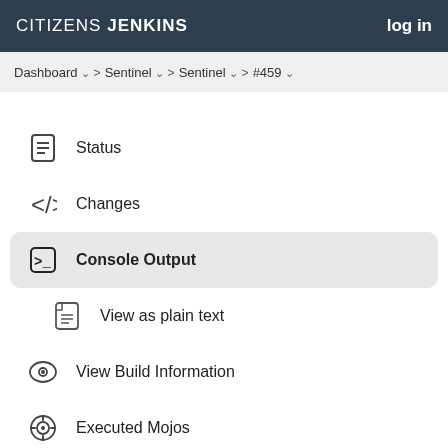CITIZENS JENKINS   log in
Dashboard  >  Sentinel  >  Sentinel  >  #459
Status
Changes
Console Output
View as plain text
View Build Information
Executed Mojos
See Fingerprints